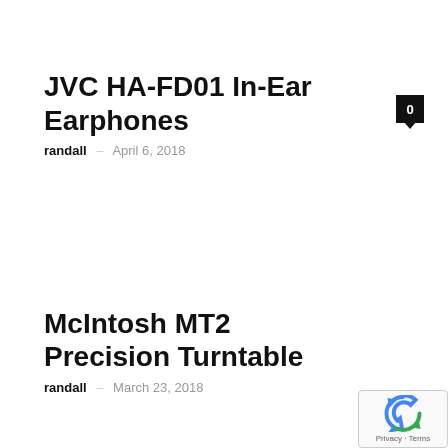JVC HA-FD01 In-Ear Earphones
randall – April 6, 2018
McIntosh MT2 Precision Turntable
randall – March 23, 2018